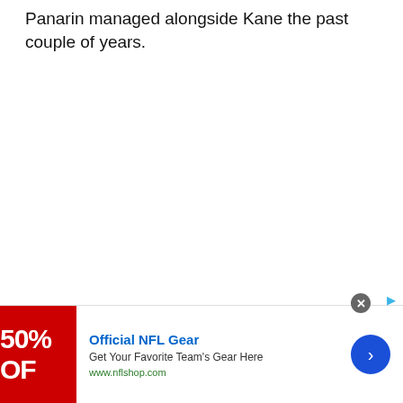Panarin managed alongside Kane the past couple of years.
Also of interest will be how local products Ryan
[Figure (other): Advertisement banner for Official NFL Gear. Red image on left with '50% OFF' text, blue 'Official NFL Gear' headline, 'Get Your Favorite Team's Gear Here' subtitle, 'www.nflshop.com' URL in green, blue circular arrow button on right. Close button (X) in top right corner.]